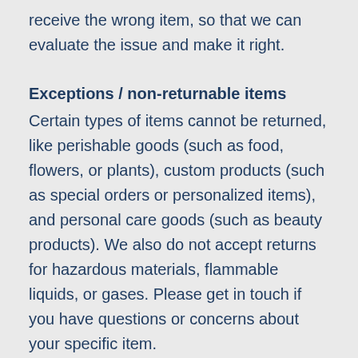receive the wrong item, so that we can evaluate the issue and make it right.
Exceptions / non-returnable items
Certain types of items cannot be returned, like perishable goods (such as food, flowers, or plants), custom products (such as special orders or personalized items), and personal care goods (such as beauty products). We also do not accept returns for hazardous materials, flammable liquids, or gases. Please get in touch if you have questions or concerns about your specific item.
Unfortunately, we cannot accept returns on sale items or gift cards.